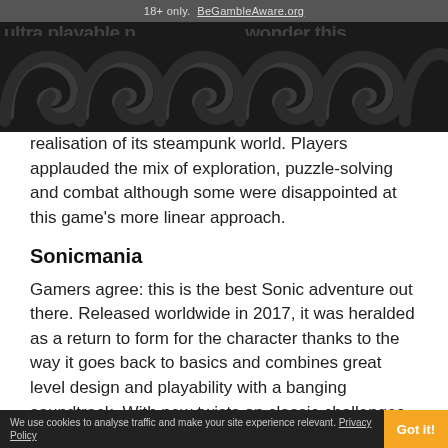18+ only.  BeGambleAware.org
[Figure (illustration): Dark decorative banner with swirling abstract spiral/wave patterns in dark brownish-black tones, with partial cut-off bold text 'ultra playable p...' and '...wonder this' visible at edges]
realisation of its steampunk world. Players applauded the mix of exploration, puzzle-solving and combat although some were disappointed at this game's more linear approach.
Sonicmania
Gamers agree: this is the best Sonic adventure out there. Released worldwide in 2017, it was heralded as a return to form for the character thanks to the way it goes back to basics and combines great level design and playability with a banging soundtrack. With new twists on classic challenges, plenty of different abilities and competition and
We use cookies to analyse traffic and make your site experience relevant. Privacy Policy  Got it!